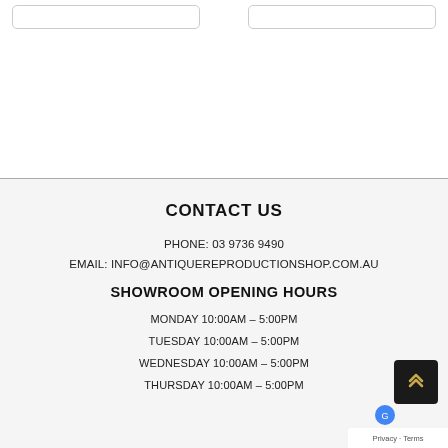[Figure (screenshot): Two rounded input/search boxes at top of page]
CONTACT US
PHONE: 03 9736 9490
EMAIL: INFO@ANTIQUEREPRODUCTIONSHOP.COM.AU
SHOWROOM OPENING HOURS
MONDAY 10:00AM – 5:00PM
TUESDAY 10:00AM – 5:00PM
WEDNESDAY 10:00AM – 5:00PM
THURSDAY 10:00AM – 5:00PM